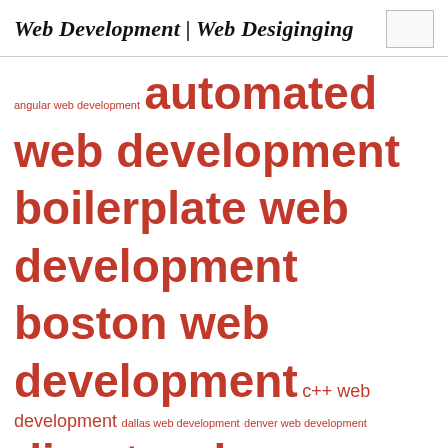Web Development | Web Desiginging
angular web development automated web development boilerplate web development boston web development c++ web development dallas web development denver web development direct web development dotnetnuke web development ecommerce web developers freelance web developer hipster web developer hudson web development idaho web development ipados web development kentico web developer kiss web development local web developer mcpd web